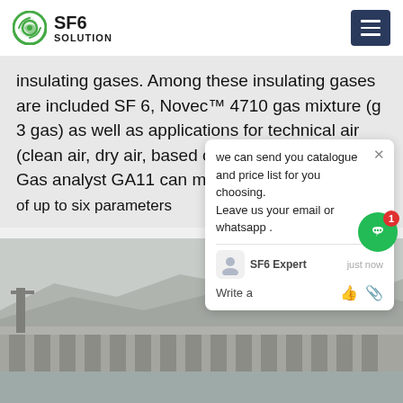SF6 SOLUTION
insulating gases. Among these insulating gases are included SF 6, Novec™ 4710 gas mixture (g 3 gas) as well as applications for technical air (clean air, dry air, based on oxygen and nitrogen). Gas analyst GA11 can measure the n of up to six parameters
we can send you catalogue and price list for you choosing. Leave us your email or whatsapp . SF6 Expert   just now Write a
[Figure (photo): Aerial photo of a large dam or hydroelectric power station in misty/foggy conditions, with a river and mountainous terrain in the background.]